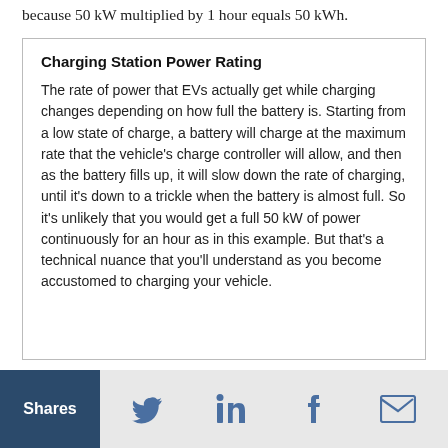because 50 kW multiplied by 1 hour equals 50 kWh.
Charging Station Power Rating
The rate of power that EVs actually get while charging changes depending on how full the battery is. Starting from a low state of charge, a battery will charge at the maximum rate that the vehicle's charge controller will allow, and then as the battery fills up, it will slow down the rate of charging, until it's down to a trickle when the battery is almost full. So it's unlikely that you would get a full 50 kW of power continuously for an hour as in this example. But that's a technical nuance that you'll understand as you become accustomed to charging your vehicle.
Shares